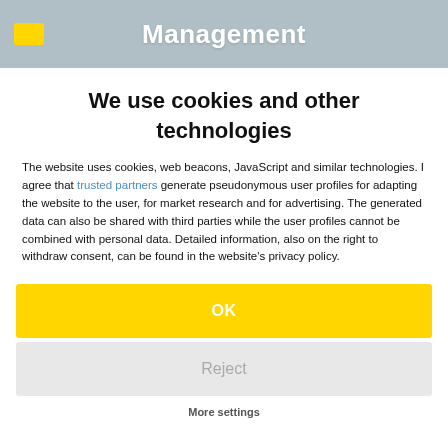Management
We use cookies and other technologies
The website uses cookies, web beacons, JavaScript and similar technologies. I agree that trusted partners generate pseudonymous user profiles for adapting the website to the user, for market research and for advertising. The generated data can also be shared with third parties while the user profiles cannot be combined with personal data. Detailed information, also on the right to withdraw consent, can be found in the website's privacy policy.
OK
Reject
More settings